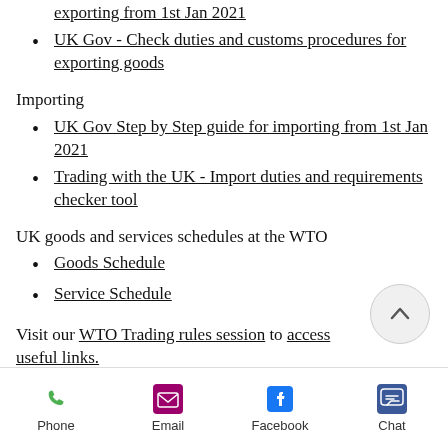exporting from 1st Jan 2021
UK Gov - Check duties and customs procedures for exporting goods
Importing
UK Gov Step by Step guide for importing from 1st Jan 2021
Trading with the UK - Import duties and requirements checker tool
UK goods and services schedules at the WTO
Goods Schedule
Service Schedule
Visit our WTO Trading rules session to access useful links.
#WTORules #Export #Import #EU
Phone | Email | Facebook | Chat